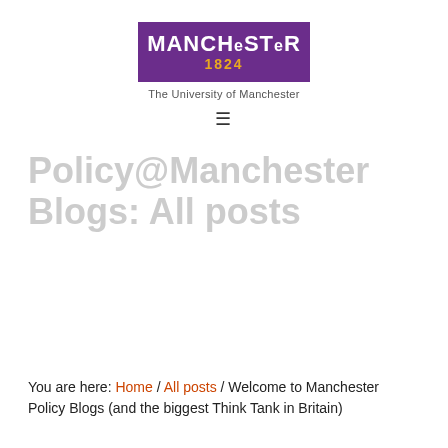[Figure (logo): University of Manchester logo: purple rectangle with MANCHESTER in white bold uppercase and 1824 in gold, subtitle 'The University of Manchester' below]
Policy@Manchester Blogs: All posts
You are here: Home / All posts / Welcome to Manchester Policy Blogs (and the biggest Think Tank in Britain)